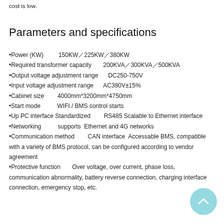cost is low.
Parameters and specifications
•Power (KW)         150KW／225KW／380KW
•Required transformer capacity         200KVA／300KVA／500KVA
•Output voltage adjustment range         DC250-750V
•Input voltage adjustment range         AC380V±15%
•Cabinet size         4000mm*3200mm*4750mm
•Start mode         WIFI / BMS control starts
•Up PC interface Standardized         RS485 Scalable to Ethernet interface
•Networking         supports  Ethernet and 4G networks
•Communication method         CAN interface  Accessable BMS, compatible with a variety of BMS protocol, can be configured according to vendor agreement
•Protective function         Over voltage, over current, phase loss, communication abnormality, battery reverse connection, charging interface connection, emergency stop, etc.